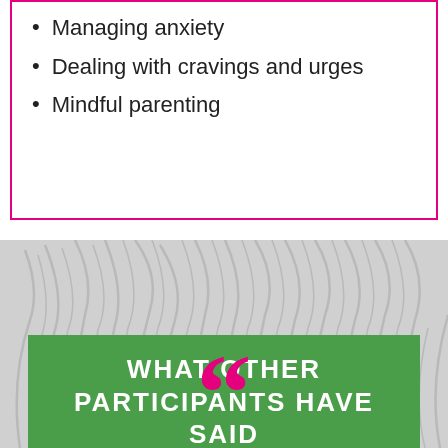Managing anxiety
Dealing with cravings and urges
Mindful parenting
[Figure (illustration): Faded grayscale background image of tall grass or plant leaves]
WHAT OTHER PARTICIPANTS HAVE SAID